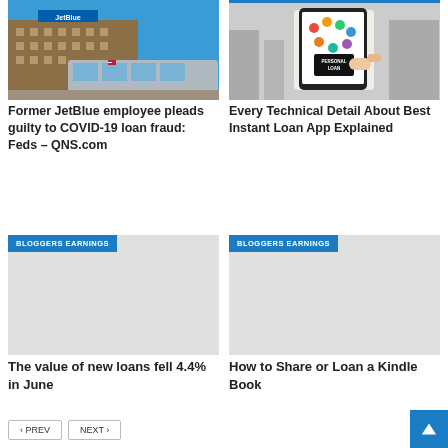[Figure (photo): Photo of a JetBlue building and subway train at a station]
[Figure (photo): Photo of a hand holding a smartphone displaying 'Personal Loan' app with colorful icons]
Former JetBlue employee pleads guilty to COVID-19 loan fraud: Feds – QNS.com
Every Technical Detail About Best Instant Loan App Explained
[Figure (photo): Bloggers Earnings category image placeholder]
[Figure (photo): Bloggers Earnings category image placeholder]
The value of new loans fell 4.4% in June
How to Share or Loan a Kindle Book